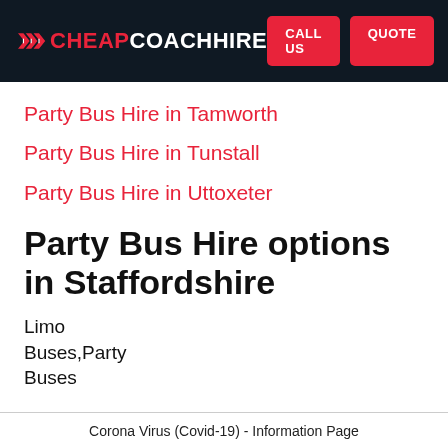CHEAPCOACHHIRE | CALL US | QUOTE
Party Bus Hire in Tamworth
Party Bus Hire in Tunstall
Party Bus Hire in Uttoxeter
Party Bus Hire options in Staffordshire
Limo Buses,Party Buses
Corona Virus (Covid-19) - Information Page